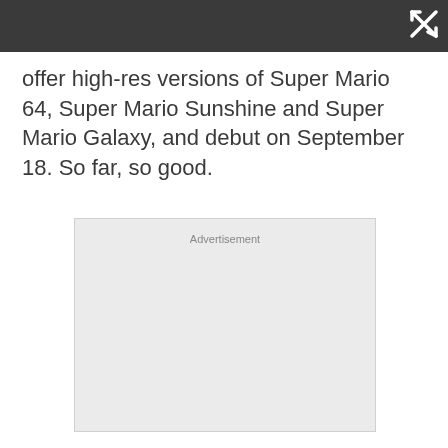offer high-res versions of Super Mario 64, Super Mario Sunshine and Super Mario Galaxy, and debut on September 18. So far, so good.
[Figure (other): Advertisement placeholder box with light gray background and 'Advertisement' label at top center]